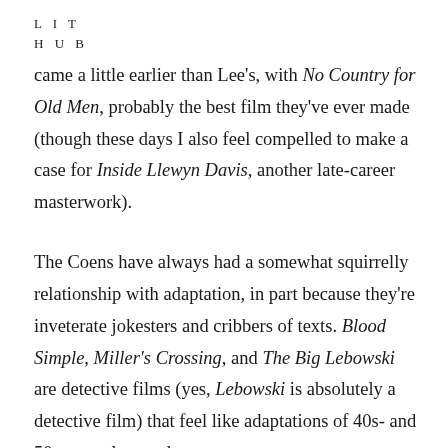LIT
HUB
came a little earlier than Lee's, with No Country for Old Men, probably the best film they've ever made (though these days I also feel compelled to make a case for Inside Llewyn Davis, another late-career masterwork).

The Coens have always had a somewhat squirrelly relationship with adaptation, in part because they're inveterate jokesters and cribbers of texts. Blood Simple, Miller's Crossing, and The Big Lebowski are detective films (yes, Lebowski is absolutely a detective film) that feel like adaptations of 40s- and 50s-era pulp novels.